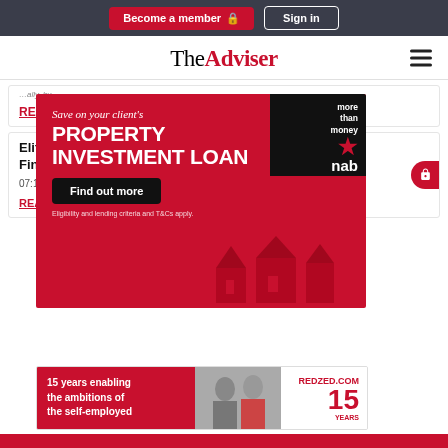Become a member | Sign in
TheAdviser
READ NOW
[Figure (infographic): NAB advertisement: Save on your client's PROPERTY INVESTMENT LOAN. more than money nab. Find out more. Eligibility and lending criteria and T&Cs apply.]
Elite Broker Q&A: ... Finance
07:19AM
READ
Elite Broker Q&A: Liz McRae, Loan Market Geelong
08:28AM, 26 Aug 2022 • by Adrian Suljanovic
READ
[Figure (infographic): RedZed advertisement: 15 years enabling the ambitions of the self-employed. REDZED.COM 15 YEARS]